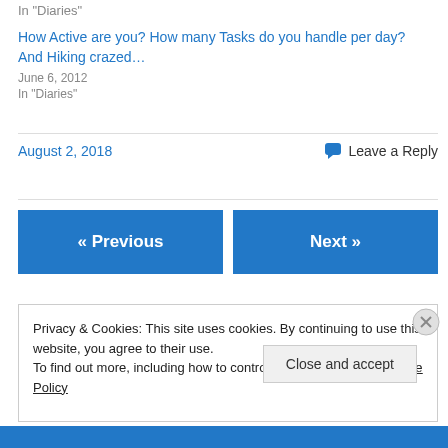In "Diaries"
How Active are you? How many Tasks do you handle per day? And Hiking crazed…
June 6, 2012
In "Diaries"
August 2, 2018
💬 Leave a Reply
« Previous
Next »
Privacy & Cookies: This site uses cookies. By continuing to use this website, you agree to their use.
To find out more, including how to control cookies, see here: Cookie Policy
Close and accept